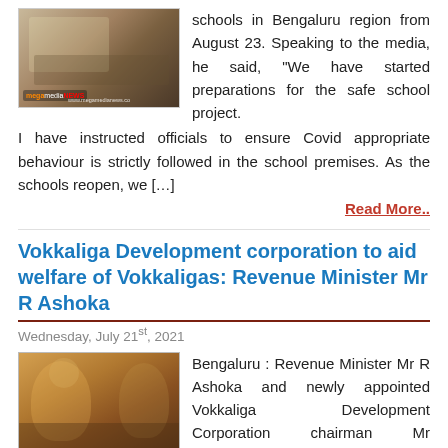[Figure (photo): News photo from megamedianews with watermark]
schools in Bengaluru region from August 23. Speaking to the media, he said, "We have started preparations for the safe school project. I have instructed officials to ensure Covid appropriate behaviour is strictly followed in the school premises. As the schools reopen, we […]
Read More..
Vokkaliga Development corporation to aid welfare of Vokkaligas: Revenue Minister Mr R Ashoka
Wednesday, July 21st, 2021
[Figure (photo): Photo of Revenue Minister Mr R Ashoka at Sri Adichunchanagiri Math meeting]
Bengaluru : Revenue Minister Mr R Ashoka and newly appointed Vokkaliga Development Corporation chairman Mr Krishnappa met His Holiness Sri Sri Sri Nirmalanandanatha Swamji at Sri Adichunchanagiri Math, Vijayanagar and sought his blessings on Wednesday. Speaking on the occasion, Mr Ashoka said that Sri Sri Sri Nirmalanandanatha Swamji had earlier suggested Chief